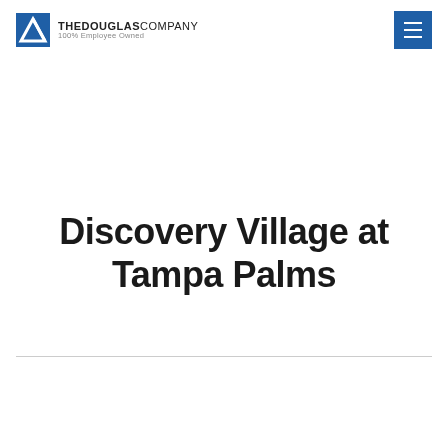THE DOUGLAS COMPANY 100% Employee Owned
Discovery Village at Tampa Palms